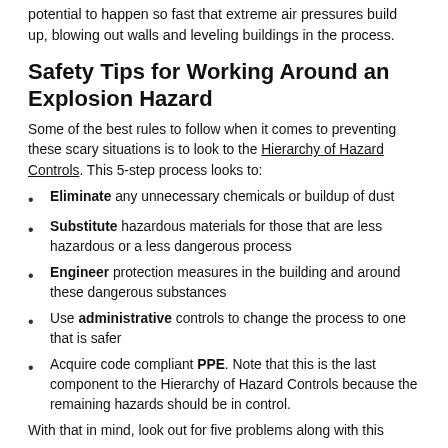potential to happen so fast that extreme air pressures build up, blowing out walls and leveling buildings in the process.
Safety Tips for Working Around an Explosion Hazard
Some of the best rules to follow when it comes to preventing these scary situations is to look to the Hierarchy of Hazard Controls. This 5-step process looks to:
Eliminate any unnecessary chemicals or buildup of dust
Substitute hazardous materials for those that are less hazardous or a less dangerous process
Engineer protection measures in the building and around these dangerous substances
Use administrative controls to change the process to one that is safer
Acquire code compliant PPE. Note that this is the last component to the Hierarchy of Hazard Controls because the remaining hazards should be in control.
With that in mind, look out for five problems along with this